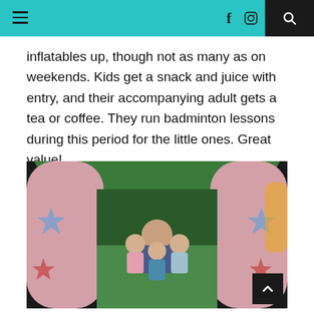Navigation bar with hamburger menu, Facebook icon, Instagram icon, and search icon
inflatables up, though not as many as on weekends. Kids get a snack and juice with entry, and their accompanying adult gets a tea or coffee. They run badminton lessons during this period for the little ones. Great value!
[Figure (photo): A woman and three young children sitting together on a pink inflatable bounce castle slide, viewed from inside the inflatable. The inflatable has star decorations and green top. Shot is taken from the entrance looking in.]